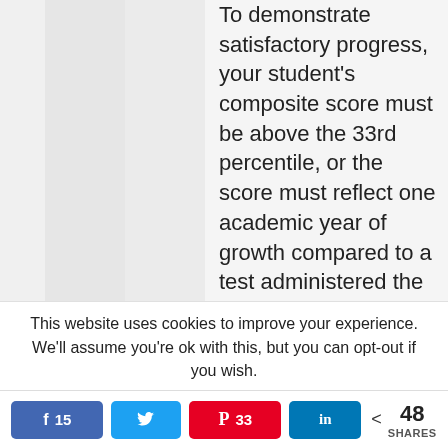To demonstrate satisfactory progress, your student's composite score must be above the 33rd percentile, or the score must reflect one academic year of growth compared to a test administered the prior school year.

You may choose one of the following tests:
This website uses cookies to improve your experience. We'll assume you're ok with this, but you can opt-out if you wish.
< 48 SHARES | Facebook 15 | Twitter | Pinterest 33 | LinkedIn